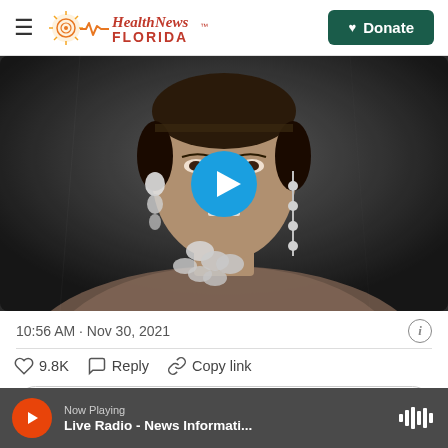[Figure (logo): Health News Florida logo with sun/heartbeat graphic and orange/red text]
[Figure (photo): Black and white vintage photo of a smiling woman wearing large earrings and layered necklaces, with a blue circular play button overlay in the center]
10:56 AM · Nov 30, 2021
♡ 9.8K   Reply   Copy link
Read 463 replies
Now Playing
Live Radio - News Informati...